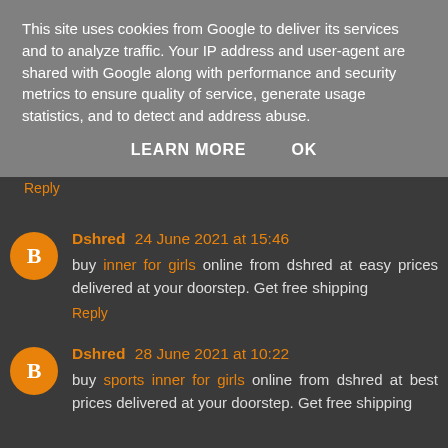This site uses cookies from Google to deliver its services and to analyze traffic. Your IP address and user-agent are shared with Google along with performance and security metrics to ensure quality of service, generate usage statistics, and to detect and address abuse.
LEARN MORE   OK
Reply
Dshred 24 June 2021 at 15:46
buy inner for girls online from dshred at easy prices delivered at your doorstep. Get free shipping
Reply
Dshred 28 June 2021 at 10:22
buy sports inner for girls online from dshred at best prices delivered at your doorstep. Get free shipping